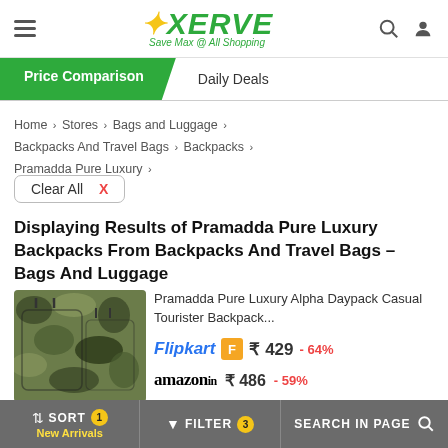[Figure (logo): XERVE logo with tagline 'Save Max @ All Shopping']
Price Comparison | Daily Deals
Home › Stores › Bags and Luggage › Backpacks And Travel Bags › Backpacks › Pramadda Pure Luxury ›
Clear All X
Displaying Results of Pramadda Pure Luxury Backpacks From Backpacks And Travel Bags – Bags And Luggage
[Figure (photo): Camouflage backpacks product image showing two bags]
Pramadda Pure Luxury Alpha Daypack Casual Tourister Backpack...
Flipkart ₹ 429 - 64%
amazon.in ₹ 486 - 59%
↕ SORT 1 New Arrivals | FILTER 3 | SEARCH IN PAGE